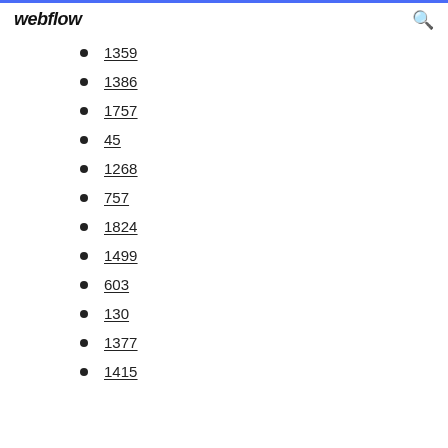webflow
1359
1386
1757
45
1268
757
1824
1499
603
130
1377
1415
…